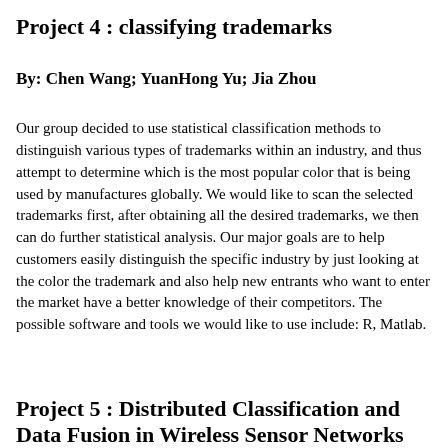Project 4 : classifying trademarks
By: Chen Wang; YuanHong Yu; Jia Zhou
Our group decided to use statistical classification methods to distinguish various types of trademarks within an industry, and thus attempt to determine which is the most popular color that is being used by manufactures globally. We would like to scan the selected trademarks first, after obtaining all the desired trademarks, we then can do further statistical analysis. Our major goals are to help customers easily distinguish the specific industry by just looking at the color the trademark and also help new entrants who want to enter the market have a better knowledge of their competitors. The possible software and tools we would like to use include: R, Matlab.
Project 5 : Distributed Classification and Data Fusion in Wireless Sensor Networks
By : Mahmoud Faraj